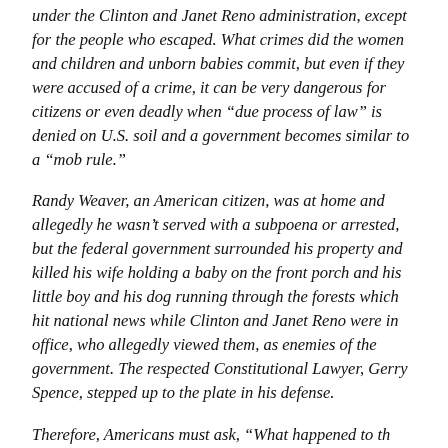under the Clinton and Janet Reno administration, except for the people who escaped. What crimes did the women and children and unborn babies commit, but even if they were accused of a crime, it can be very dangerous for citizens or even deadly when “due process of law” is denied on U.S. soil and a government becomes similar to a “mob rule.”
Randy Weaver, an American citizen, was at home and allegedly he wasn’t served with a subpoena or arrested, but the federal government surrounded his property and killed his wife holding a baby on the front porch and his little boy and his dog running through the forests which hit national news while Clinton and Janet Reno were in office, who allegedly viewed them, as enemies of the government. The respected Constitutional Lawyer, Gerry Spence, stepped up to the plate in his defense.
Therefore, Americans must ask, “What happened to the